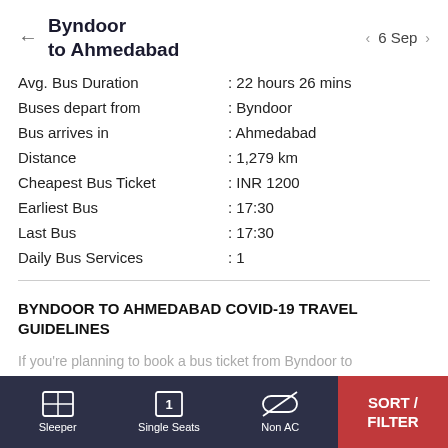Byndoor to Ahmedabad  6 Sep
| Label | Value |
| --- | --- |
| Avg. Bus Duration | : 22 hours 26 mins |
| Buses depart from | : Byndoor |
| Bus arrives in | : Ahmedabad |
| Distance | : 1,279 km |
| Cheapest Bus Ticket | : INR 1200 |
| Earliest Bus | : 17:30 |
| Last Bus | : 17:30 |
| Daily Bus Services | : 1 |
BYNDOOR TO AHMEDABAD COVID-19 TRAVEL GUIDELINES
If you're planning to book a bus ticket from Byndoor to Ahmedabad, please take a note of Ahmedabad travel
Sleeper   Single Seats   Non AC   SORT / FILTER